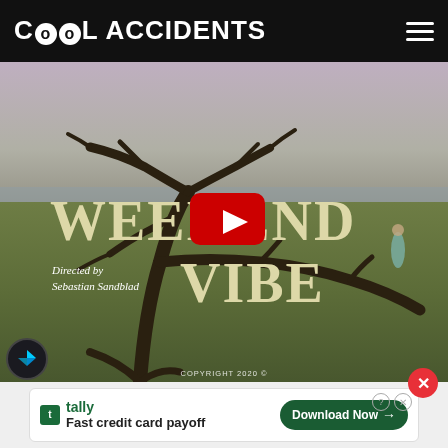Cool Accidents
[Figure (screenshot): YouTube video thumbnail for 'Weekend Vibe' music video by Jubei, directed by Sebastian Sandblad. Shows a dead tree in foreground against a coastal landscape with grass, water and hazy sky. Large text reads WEEKEND VIBE. Red YouTube play button in center. Copyright 2020 shown at bottom.]
[Figure (logo): Framer logo in circular dark badge at bottom-left of video]
[Figure (other): Close button (red circle with X) at bottom-right]
[Figure (other): Advertisement banner: tally app - Fast credit card payoff - Download Now button]